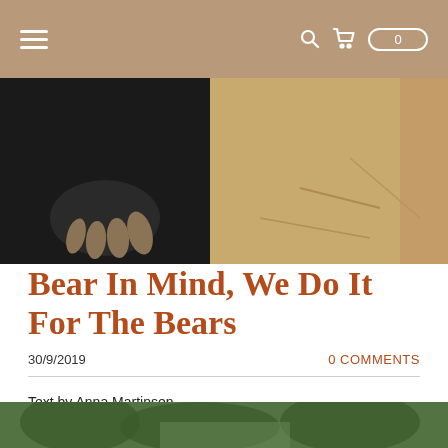Navigation bar with hamburger menu, search icon, cart icon, and badge showing 0
[Figure (photo): Close-up of a bear's paw/claws on the left side and sandy ground with sticks on the right side]
Bear In Mind, We Do It For The Bears
30/9/2019
0 COMMENTS
Text by Anna Martinsen
Photos by Chiew Lin May
Hello BSBCC Bear Talk Blog!
[Figure (photo): Partial view of a photo at the bottom of the page showing greenery/outdoor scene]